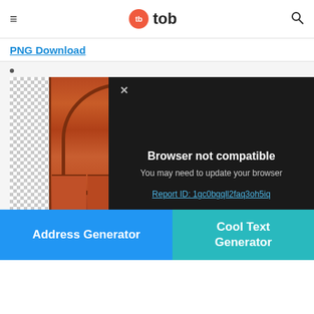≡  tb  tob  🔍
PNG Download
[Figure (screenshot): A screenshot of a web-based PNG viewer showing a brown wooden door image on a checkered transparent background. A dark modal overlay reads 'Browser not compatible — You may need to update your browser' with a report link. Two promotional banners at the bottom: 'Address Generator' (blue) and 'Cool Text Generator' (teal).]